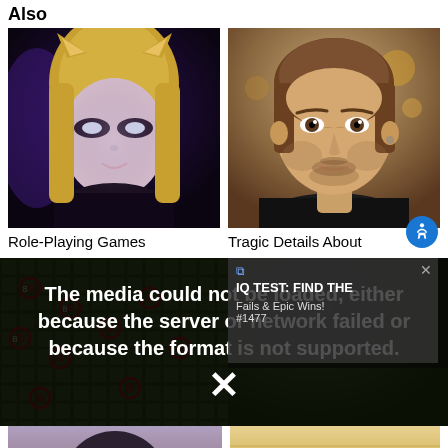Also
[Figure (photo): Fantasy game character with cat ears and blonde hair, dark atmosphere]
[Figure (photo): Young man with brown hair and light beard, indoor setting]
Role-Playing Games
Tragic Details About
[Figure (screenshot): Video error message overlay: The media could not be loaded, either because the server or network failed or because the format is not supported. with X symbol]
[Figure (screenshot): IQ TEST: FIND THE overlay panel with Fails & Epic Wins! #1477 text]
[Figure (photo): Game tiles background with circular markers, top-down RPG view]
[Figure (photo): Anime/game female character portrait]
[Figure (photo): EL DORADO bull mascot logo with THINGS TO text partially visible]